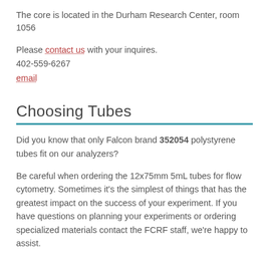The core is located in the Durham Research Center, room 1056
Please contact us with your inquires.
402-559-6267
email
Choosing Tubes
Did you know that only Falcon brand 352054 polystyrene tubes fit on our analyzers?
Be careful when ordering the 12x75mm 5mL tubes for flow cytometry.  Sometimes it’s the simplest of things that has the greatest impact on the success of your experiment.  If you have questions on planning your experiments or ordering specialized materials contact the FCRF staff, we’re happy to assist.